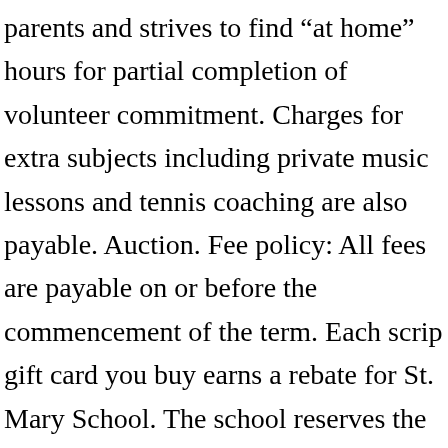parents and strives to find “at home” hours for partial completion of volunteer commitment. Charges for extra subjects including private music lessons and tennis coaching are also payable. Auction. Fee policy: All fees are payable on or before the commencement of the term. Each scrip gift card you buy earns a rebate for St. Mary School. The school reserves the right to suspend a student from attendng class, having. It does not discriminate on the basis … Therefore, no amount of tuition paid is refundable. … Submitting this form will enroll you. We do not work on an attempt to